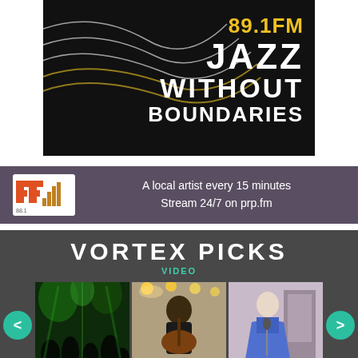[Figure (logo): 89.1FM Jazz Without Boundaries radio station logo on black background with decorative wave lines]
[Figure (logo): PRP radio logo banner: A local artist every 15 minutes. Stream 24/7 on prp.fm]
VORTEX PICKS
VIDEO
[Figure (photo): Three video thumbnails: 1) Concert scene with green stage lights and crowd silhouettes, 2) Guitar player in black t-shirt holding acoustic guitar, 3) Female singer in blue dress at microphone. Navigation arrows on left and right.]